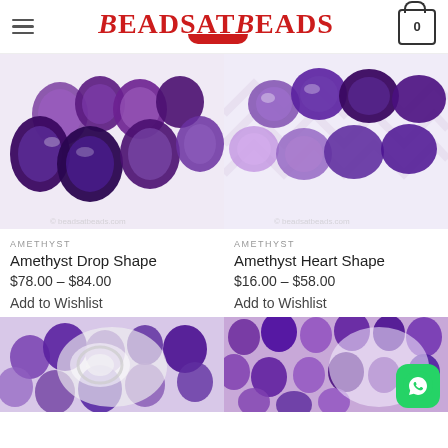BeadsAtBeads
[Figure (photo): Close-up photo of purple amethyst drop shape beads on white background]
AMETHYST
Amethyst Drop Shape
$78.00 – $84.00
Add to Wishlist
[Figure (photo): Close-up photo of purple amethyst heart shape beads on white background]
AMETHYST
Amethyst Heart Shape
$16.00 – $58.00
Add to Wishlist
[Figure (photo): Partial photo of purple amethyst beads strand at bottom left]
[Figure (photo): Partial photo of purple amethyst beads at bottom right]